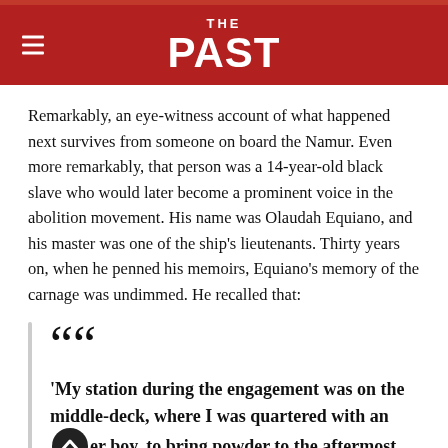THE PAST
Remarkably, an eye-witness account of what happened next survives from someone on board the Namur. Even more remarkably, that person was a 14-year-old black slave who would later become a prominent voice in the abolition movement. His name was Olaudah Equiano, and his master was one of the ship's lieutenants. Thirty years on, when he penned his memoirs, Equiano's memory of the carnage was undimmed. He recalled that:
“My station during the engagement was on the middle-deck, where I was quartered with another boy, to bring powder to the aftermost gun; and